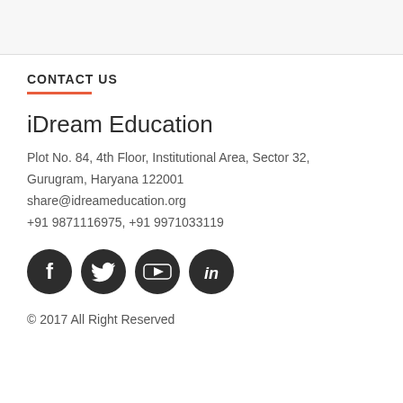CONTACT US
iDream Education
Plot No. 84, 4th Floor, Institutional Area, Sector 32, Gurugram, Haryana 122001
share@idreameducation.org
+91 9871116975, +91 9971033119
[Figure (illustration): Four social media icons: Facebook, Twitter, YouTube, LinkedIn — dark circular buttons]
© 2017 All Right Reserved